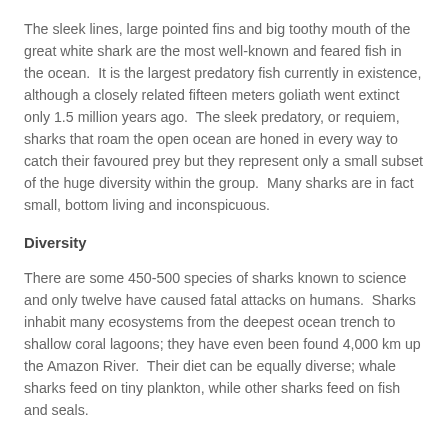The sleek lines, large pointed fins and big toothy mouth of the great white shark are the most well-known and feared fish in the ocean.  It is the largest predatory fish currently in existence, although a closely related fifteen meters goliath went extinct only 1.5 million years ago.  The sleek predatory, or requiem, sharks that roam the open ocean are honed in every way to catch their favoured prey but they represent only a small subset of the huge diversity within the group.  Many sharks are in fact small, bottom living and inconspicuous.
Diversity
There are some 450-500 species of sharks known to science and only twelve have caused fatal attacks on humans.  Sharks inhabit many ecosystems from the deepest ocean trench to shallow coral lagoons; they have even been found 4,000 km up the Amazon River.  Their diet can be equally diverse; whale sharks feed on tiny plankton, while other sharks feed on fish and seals.